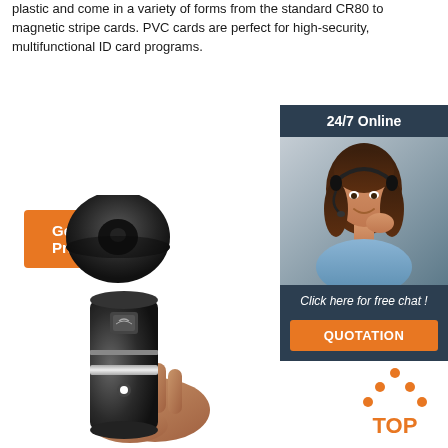plastic and come in a variety of forms from the standard CR80 to magnetic stripe cards. PVC cards are perfect for high-security, multifunctional ID card programs.
Get Price
[Figure (photo): Sidebar with woman wearing headset for 24/7 online customer support chat, with quotation button]
[Figure (photo): Hand holding a cylindrical black device with a flat disc/coin tag above it, showing RFID/NFC reader hardware]
[Figure (illustration): Orange dots arranged in a triangle above the text TOP in orange]